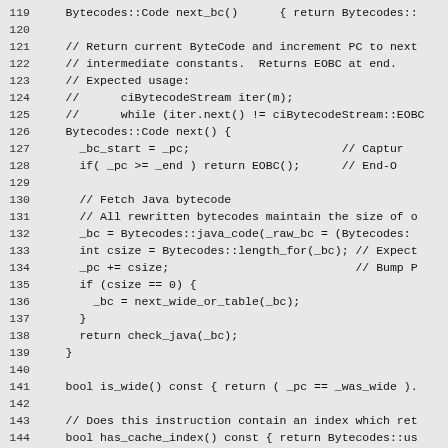[Figure (screenshot): Source code listing showing C++ class methods for bytecode processing, lines 119-148. Includes methods: next_bc(), next(), is_wide(), has_cache_index(), get_index_u1(). Code shown on grey background with monospace font and line numbers.]